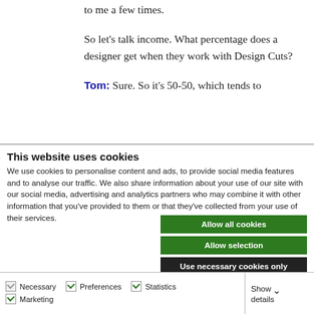to me a few times.
So let's talk income. What percentage does a designer get when they work with Design Cuts?
Tom: Sure. So it's 50-50, which tends to
This website uses cookies
We use cookies to personalise content and ads, to provide social media features and to analyse our traffic. We also share information about your use of our site with our social media, advertising and analytics partners who may combine it with other information that you've provided to them or that they've collected from your use of their services.
Allow all cookies
Allow selection
Use necessary cookies only
Necessary  Preferences  Statistics  Marketing  Show details